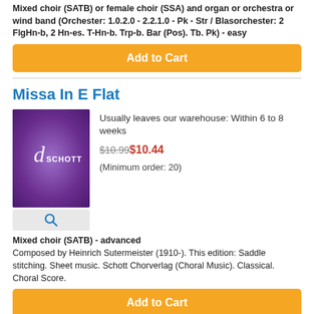Mixed choir (SATB) or female choir (SSA) and organ or orchestra or wind band (Orchester: 1.0.2.0 - 2.2.1.0 - Pk - Str / Blasorchester: 2 FlgHn-b, 2 Hn-es. T-Hn-b. Trp-b. Bar (Pos). Tb. Pk) - easy
Add to Cart
Missa In E Flat
[Figure (photo): Schott publisher book cover with purple gradient background and Schott logo]
Usually leaves our warehouse: Within 6 to 8 weeks
$10.99$10.44
(Minimum order: 20)
Mixed choir (SATB) - advanced
Composed by Heinrich Sutermeister (1910-). This edition: Saddle stitching. Sheet music. Schott Chorverlag (Choral Music). Classical. Choral Score.
Add to Cart